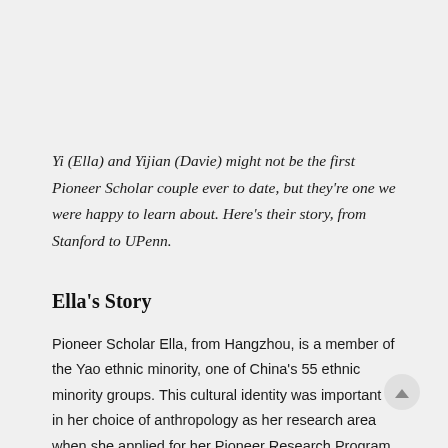Yi (Ella) and Yijian (Davie) might not be the first Pioneer Scholar couple ever to date, but they're one we were happy to learn about. Here's their story, from Stanford to UPenn.
Ella's Story
Pioneer Scholar Ella, from Hangzhou, is a member of the Yao ethnic minority, one of China's 55 ethnic minority groups. This cultural identity was important in her choice of anthropology as her research area when she applied for her Pioneer Research Program. As a